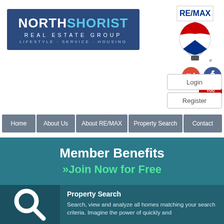[Figure (logo): NorthShorist Real Estate Group logo on dark blue background. NORTH in white, SHORIST in light blue. Subtitle: REAL ESTATE GROUP. Tagline: LIFESTYLE · SERVICE · HOUSING]
[Figure (logo): RE/MAX hot air balloon logo in red, white, and blue with RE/MAX text]
[Figure (logo): Social media icons: Google Plus (red), Facebook (blue), YouTube (red)]
[Figure (other): Login button (rounded rectangle outline)]
[Figure (other): Register button (rounded rectangle outline)]
Home | About Us | About RE/MAX | Property Search | Contact
Member Benefits
»Join Now for Free
Property Search
Search, view and analyze all homes matching your search criteria. Imagine the power of quickly and